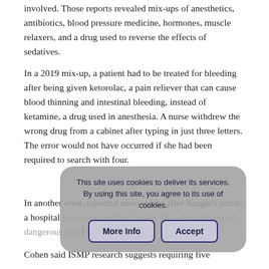involved. Those reports revealed mix-ups of anesthetics, antibiotics, blood pressure medicine, hormones, muscle relaxers, and a drug used to reverse the effects of sedatives.
In a 2019 mix-up, a patient had to be treated for bleeding after being given ketorolac, a pain reliever that can cause blood thinning and intestinal bleeding, instead of ketamine, a drug used in anesthesia. A nurse withdrew the wrong drug from a cabinet after typing in just three letters. The error would not have occurred if she had been required to search with four.
In another error, reported mere weeks after Vaught's arrest, a hospital [obscured by cookie banner] as Vaught did – [obscured] dangerous pa[obscured]
Cohen said ISMP research suggests requiring five